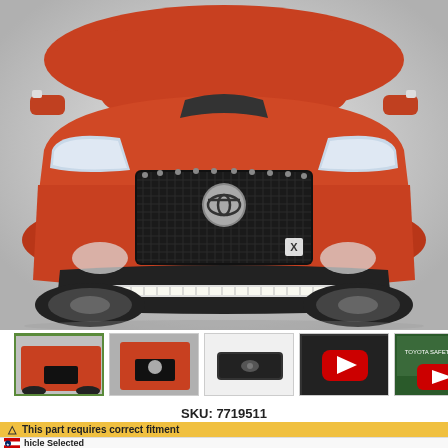[Figure (photo): Front view of a red Toyota Tacoma truck with a black aftermarket mesh grille, LED light bar mounted on the bumper, and small LED pods on the roof corners. White/grey studio background.]
[Figure (photo): Thumbnail 1: angled front view of red Toyota Tacoma with aftermarket grille]
[Figure (photo): Thumbnail 2: close-up front view of red Toyota Tacoma grille]
[Figure (photo): Thumbnail 3: isolated grille product shot on white background]
[Figure (photo): Thumbnail 4: YouTube video thumbnail showing grille install]
[Figure (photo): Thumbnail 5: YouTube video thumbnail - Toyota Safety Sense]
SKU: 7719511
This part requires correct fitment
hicle Selected